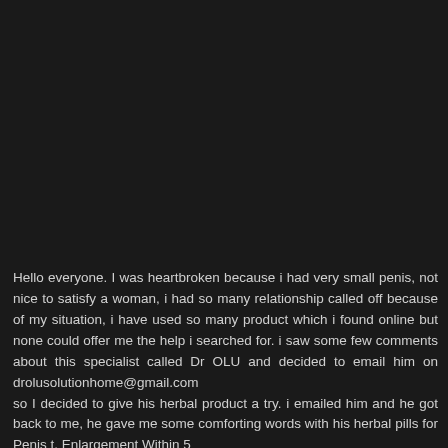Hello everyone. I was heartbroken because i had very small penis, not nice to satisfy a woman, i had so many relationship called off because of my situation, i have used so many product which i found online but none could offer me the help i searched for. i saw some few comments about this specialist called Dr OLU and decided to email him on drolusolutionhome@gmail.com
so I decided to give his herbal product a try. i emailed him and he got back to me, he gave me some comforting words with his herbal pills for Penis t. Enlargement Within 5